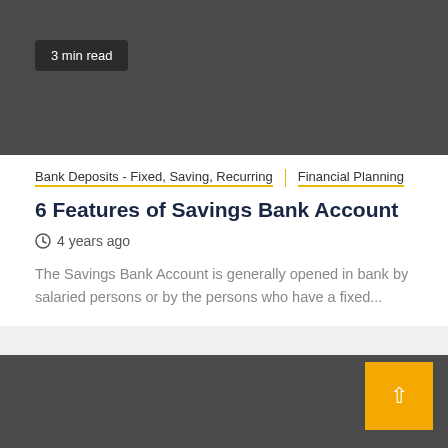[Figure (photo): Dark gray banner image area at top of article card]
3 min read
Bank Deposits - Fixed, Saving, Recurring  Financial Planning
6 Features of Savings Bank Account
4 years ago
The Savings Bank Account is generally opened in bank by salaried persons or by the persons who have a fixed...
[Figure (other): Dark gray footer section with yellow back-to-top button]